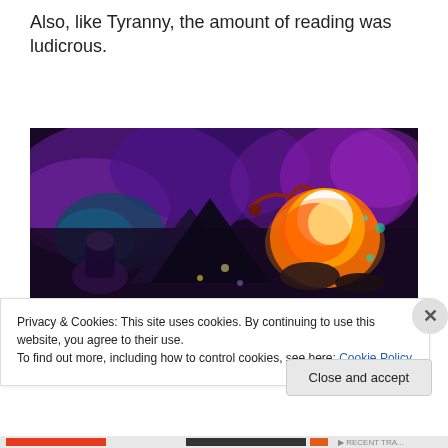Also, like Tyranny, the amount of reading was ludicrous.
[Figure (screenshot): Dark fantasy RPG game screenshot showing a bird's-eye view of a scene with purple mystical atmosphere, dark terrain, a figure in the lower left, and a large explosion/fire effect in the center-right area.]
Privacy & Cookies: This site uses cookies. By continuing to use this website, you agree to their use.
To find out more, including how to control cookies, see here: Cookie Policy
Close and accept